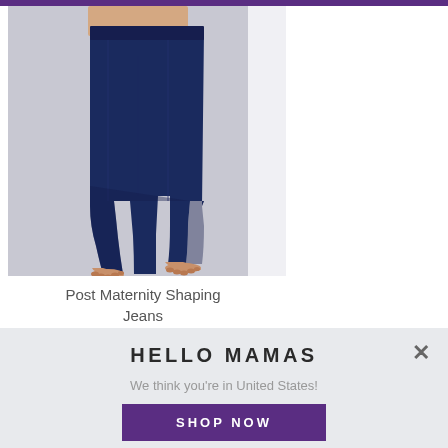[Figure (photo): Person wearing dark blue skinny jeans, barefoot, standing against a light gray background. Vertical text label reading 'NEW MAMA JEANS' on the right side of the image.]
Post Maternity Shaping Jeans
HELLO MAMAS
We think you're in United States!
SHOP NOW